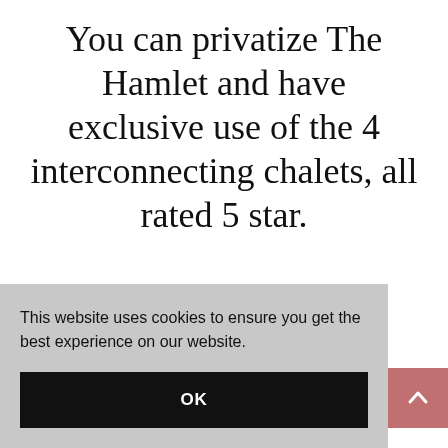You can privatize The Hamlet and have exclusive use of the 4 interconnecting chalets, all rated 5 star.
Enjoy 22 double or twin bedrooms with ensuite
This website uses cookies to ensure you get the best experience on our website.
OK